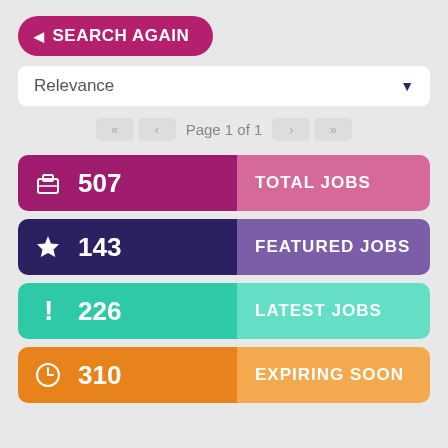SEARCH AGAIN
Relevance
Page 1 of 1
[Figure (infographic): Job statistics infographic with 4 stat cards: Total Jobs 507, Featured Jobs 143, Latest Jobs 226, Expiring Soon 310]